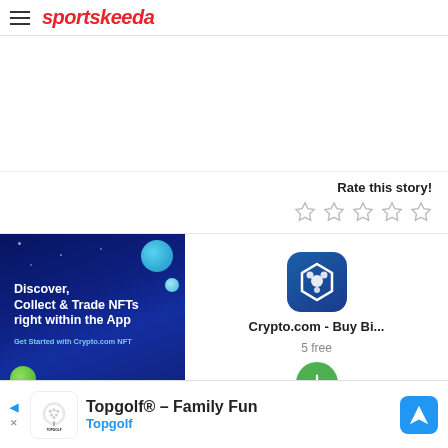sportskeeda
Rate this story!
[Figure (other): Five empty star rating icons]
[Figure (other): Crypto.com NFT banner ad: Discover, Collect & Trade NFTs right within the App. Get Started with Crypto.com NFT]
[Figure (other): Crypto.com app icon - blue hexagon shield logo]
Crypto.com - Buy Bi...
5 free
[Figure (other): Green download button with downward arrow]
[Figure (other): Topgolf advertisement banner: Topgolf® - Family Fun, Topgolf]